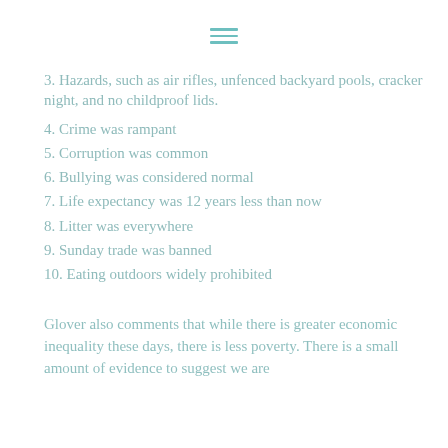3. Hazards, such as air rifles, unfenced backyard pools, cracker night, and no childproof lids.
4. Crime was rampant
5. Corruption was common
6. Bullying was considered normal
7. Life expectancy was 12 years less than now
8. Litter was everywhere
9. Sunday trade was banned
10. Eating outdoors widely prohibited
Glover also comments that while there is greater economic inequality these days, there is less poverty. There is a small amount of evidence to suggest we are